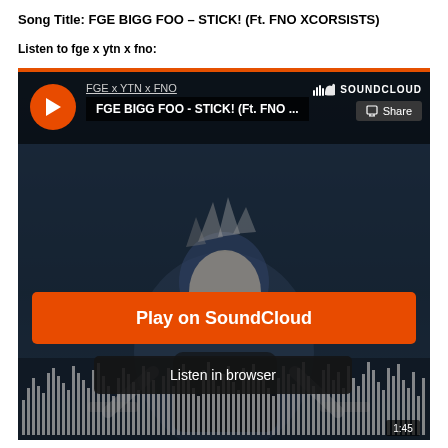Song Title: FGE BIGG FOO – STICK! (Ft. FNO XCORSISTS)
Listen to fge x ytn x fno:
[Figure (screenshot): SoundCloud embedded music player showing FGE x YTN x FNO artist, track FGE BIGG FOO - STICK! (Ft. FNO ...), with an anime character background, Play on SoundCloud orange button, Listen in browser button, waveform at the bottom, and time display 1:45.]